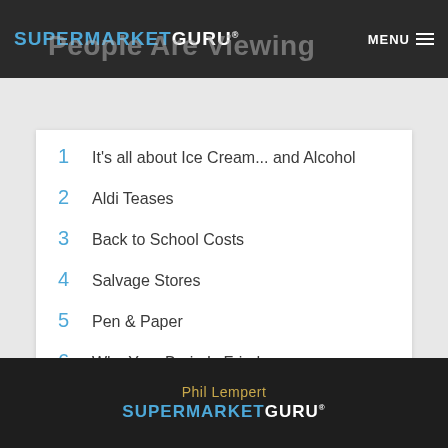SUPERMARKETGURU® MENU
People Are Viewing
1  It's all about Ice Cream... and Alcohol
2  Aldi Teases
3  Back to School Costs
4  Salvage Stores
5  Pen & Paper
6  Why Your Brain Is Fried
Phil Lempert SUPERMARKETGURU®